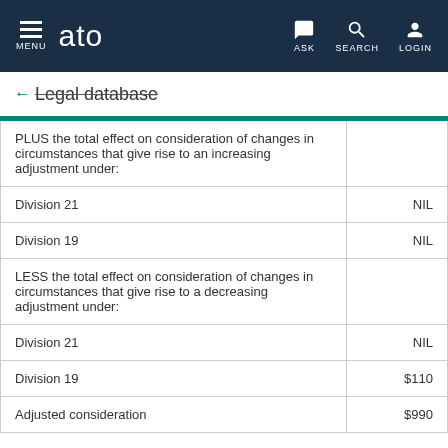MENU | ato | ASK | SEARCH | LOGIN
← Legal database
| Description | Amount |
| --- | --- |
| PLUS the total effect on consideration of changes in circumstances that give rise to an increasing adjustment under: |  |
| Division 21 | NIL |
| Division 19 | NIL |
| LESS the total effect on consideration of changes in circumstances that give rise to a decreasing adjustment under: |  |
| Division 21 | NIL |
| Division 19 | $110 |
| Adjusted consideration | $990 |